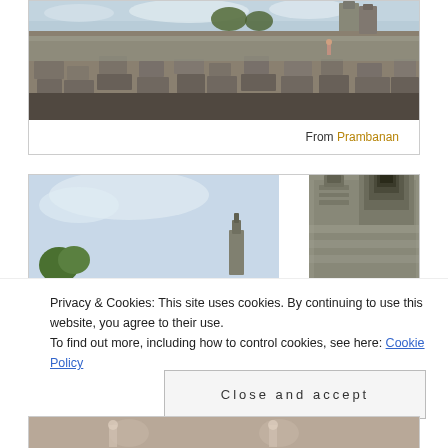[Figure (photo): Wide panoramic photo of ancient stone temple ruins at Prambanan, with large carved stone blocks scattered in foreground and temple tower in background against cloudy sky]
From Prambanan
[Figure (photo): Photo of Prambanan temple complex showing tall ornate Hindu temple towers against a blue sky, with green vegetation in foreground]
Privacy & Cookies: This site uses cookies. By continuing to use this website, you agree to their use.
To find out more, including how to control cookies, see here: Cookie Policy
Close and accept
[Figure (photo): Partial photo at bottom showing people near temple complex]